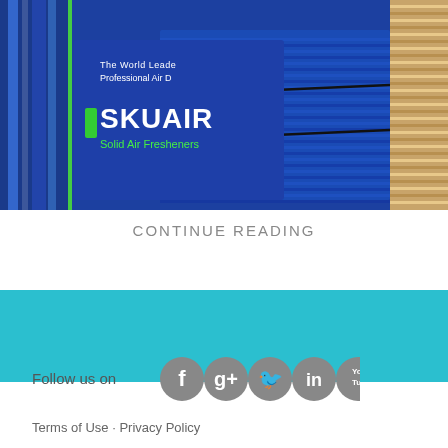[Figure (photo): Photo of SKUAIR Solid Air Fresheners product display with stacked blue product booklets/samples. Text visible: 'The World Lea... Professional Air D...' and 'SKUAIR Solid Air Fresheners']
CONTINUE READING
[Figure (other): Teal/cyan decorative horizontal banner bar]
Follow us on
[Figure (infographic): Social media icons: Facebook, Google+, Twitter, LinkedIn, YouTube — all in grey circles]
Terms of Use · Privacy Policy